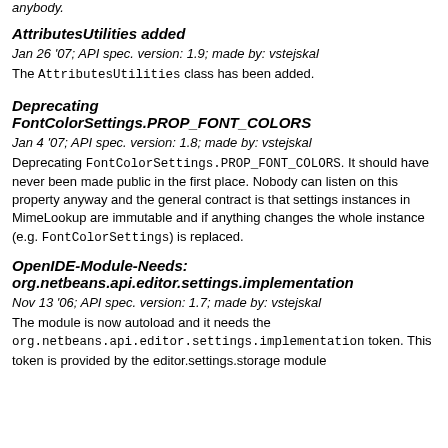anybody.
AttributesUtilities added
Jan 26 '07; API spec. version: 1.9; made by: vstejskal
The AttributesUtilities class has been added.
Deprecating FontColorSettings.PROP_FONT_COLORS
Jan 4 '07; API spec. version: 1.8; made by: vstejskal
Deprecating FontColorSettings.PROP_FONT_COLORS. It should have never been made public in the first place. Nobody can listen on this property anyway and the general contract is that settings instances in MimeLookup are immutable and if anything changes the whole instance (e.g. FontColorSettings) is replaced.
OpenIDE-Module-Needs: org.netbeans.api.editor.settings.implementation
Nov 13 '06; API spec. version: 1.7; made by: vstejskal
The module is now autoload and it needs the org.netbeans.api.editor.settings.implementation token. This token is provided by the editor.settings.storage module anyway.